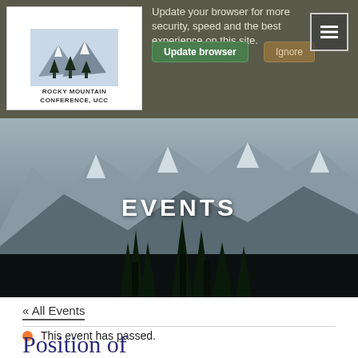Update your browser for more security, speed and the best experience on this site. Update browser  Ignore
[Figure (logo): Rocky Mountain Conference UCC logo with mountain illustration]
EVENTS
« All Events
This event has passed.
Position of